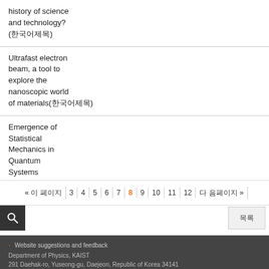history of science and technology? (한국어제목)
Ultrafast electron beam, a tool to explore the nanoscopic world of materials(한국어제목)
Emergence of Statistical Mechanics in Quantum Systems
« 이 페이지 | 3 | 4 | 5 | 6 | 7 | 8 | 9 | 10 | 11 | 12 | 다 음페이지 »
Website suggestions and feedback
Department of Physics, KAIST
291 Daehak-ro, Yuseong-gu, Daejeon, Republic of Korea 34141
Copyright (C) 2018 KAIST, All Rights Reserved.